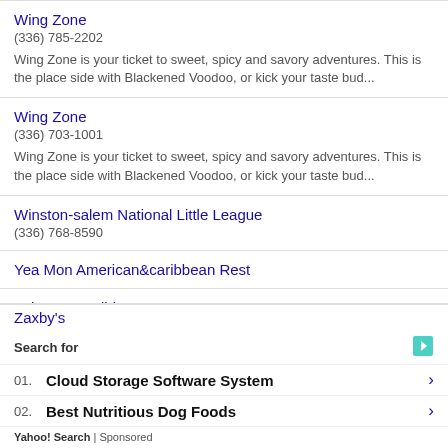Wing Zone
(336) 785-2202
Wing Zone is your ticket to sweet, spicy and savory adventures. This is the place side with Blackened Voodoo, or kick your taste bud...
Wing Zone
(336) 703-1001
Wing Zone is your ticket to sweet, spicy and savory adventures. This is the place side with Blackened Voodoo, or kick your taste bud...
Winston-salem National Little League
(336) 768-8590
Yea Mon American&caribbean Rest
Yeh Mon Caribbean Restaurant
(336) 724-2111
We are the best Caribbean Restaurant in the Triad we serve authentic Jamaican will excit...
Zaxby's
Search for
01. Cloud Storage Software System
02. Best Nutritious Dog Foods
Yahoo! Search | Sponsored